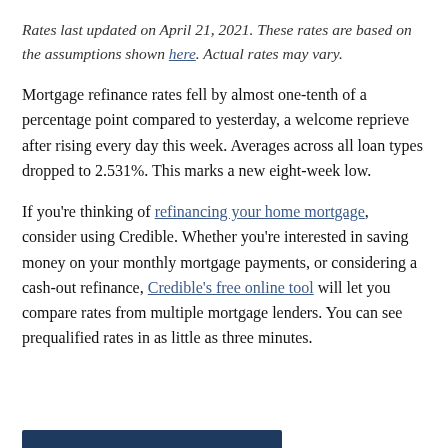Rates last updated on April 21, 2021. These rates are based on the assumptions shown here. Actual rates may vary.
Mortgage refinance rates fell by almost one-tenth of a percentage point compared to yesterday, a welcome reprieve after rising every day this week. Averages across all loan types dropped to 2.531%. This marks a new eight-week low.
If you're thinking of refinancing your home mortgage, consider using Credible. Whether you're interested in saving money on your monthly mortgage payments, or considering a cash-out refinance, Credible's free online tool will let you compare rates from multiple mortgage lenders. You can see prequalified rates in as little as three minutes.
[Figure (other): Dark navy blue bar/button at the bottom of the page, partially visible]